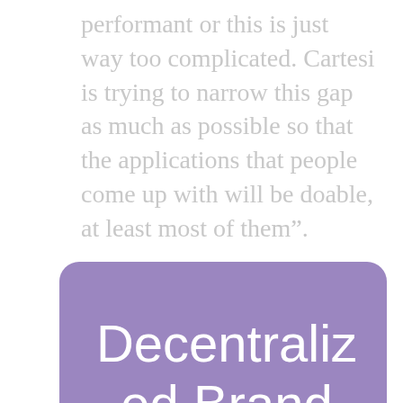performant or this is just way too complicated. Cartesi is trying to narrow this gap as much as possible so that the applications that people come up with will be doable, at least most of them”.
Decentralized Brand
Cartesi’s rebranding is done centrally, but with the goal of becoming decentralized. Not only will The Blockchain OS be